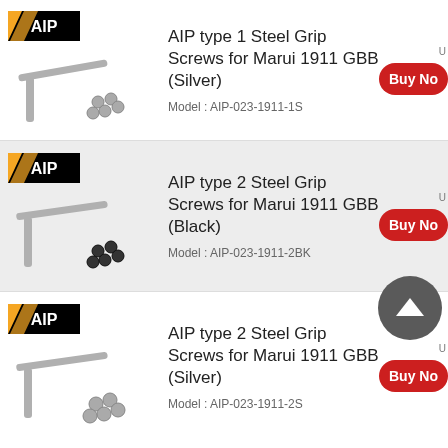[Figure (screenshot): Product listing page for AIP Steel Grip Screws showing three products. Row 1 (white background): AIP type 1 Steel Grip Screws for Marui 1911 GBB (Silver), Model: AIP-023-1911-1S. Row 2 (gray background): AIP type 2 Steel Grip Screws for Marui 1911 GBB (Black), Model: AIP-023-1911-2BK. Row 3 (white background): AIP type 2 Steel Grip Screws for Marui 1911 GBB (Silver), Model: AIP-023-1911-2S. Each row has an AIP logo, product photo of L-shaped hex key with screws, product title, model number, U label and Buy Now button (partially visible).]